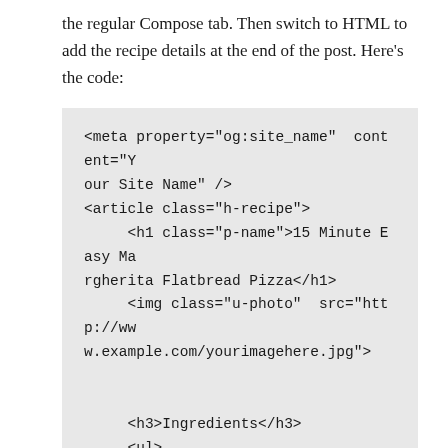the regular Compose tab. Then switch to HTML to add the recipe details at the end of the post. Here's the code:
<meta property="og:site_name" content="Your Site Name" />
<article class="h-recipe">
     <h1 class="p-name">15 Minute Easy Margherita Flatbread Pizza</h1>
     <img class="u-photo" src="http://www.example.com/yourimagehere.jpg">


     <h3>Ingredients</h3>
     <ul>
          <li class="p-ingredient">1 Naan bread</li>